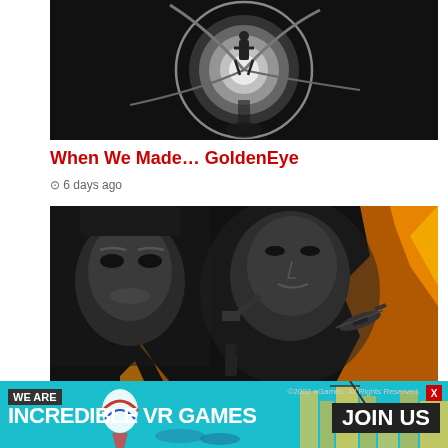[Figure (screenshot): GoldenEye gun barrel sequence — black and white figure in center of spiral tunnel]
When We Made… GoldenEye
⊙ 6 days ago
[Figure (screenshot): GoldenEye 007 game or movie promotional image — woman on left, James Bond figure center, fire and helicopter on right, black and white with color accents]
[Figure (infographic): Advertisement banner: WE ARE INCREDIBLE VR GAMES — JOIN US, cyan background with city/game imagery and hot air balloon]